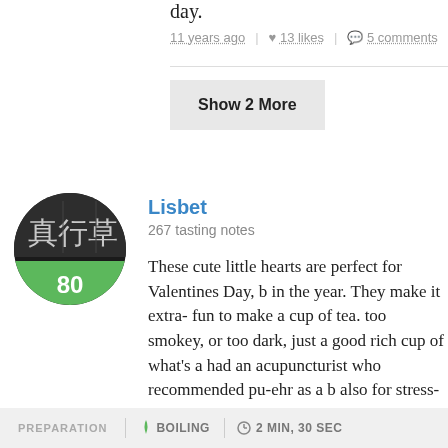day.
11 years ago | ♥ 13 likes | 💬 5 comments
Show 2 More
[Figure (photo): User avatar showing Chinese calligraphy characters with a green score badge showing 80]
Lisbet
267 tasting notes
These cute little hearts are perfect for Valentines Day, b... in the year. They make it extra- fun to make a cup of tea. too smokey, or too dark, just a good rich cup of what's a had an acupuncturist who recommended pu-ehr as a b also for stress-relief. While I don't know about these cla hearts, and even took a photo of them before I brewed
PREPARATION | ↓ BOILING | ⊙ 2 MIN, 30 SEC